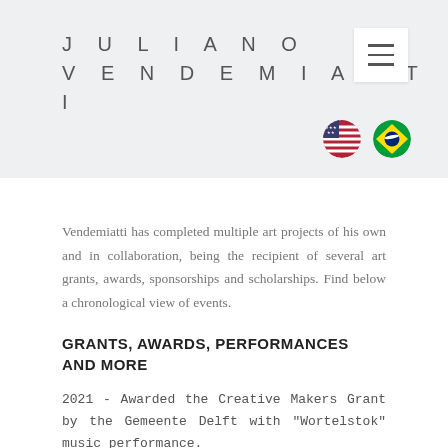JULIANO VENDEMIATTI
Vendemiatti has completed multiple art projects of his own and in collaboration, being the recipient of several art grants, awards, sponsorships and scholarships. Find below a chronological view of events.
GRANTS, AWARDS, PERFORMANCES AND MORE
2021 - Awarded the Creative Makers Grant by the Gemeente Delft with "Wortelstok" music performance.
2020 - Restricted to teaching, classes and